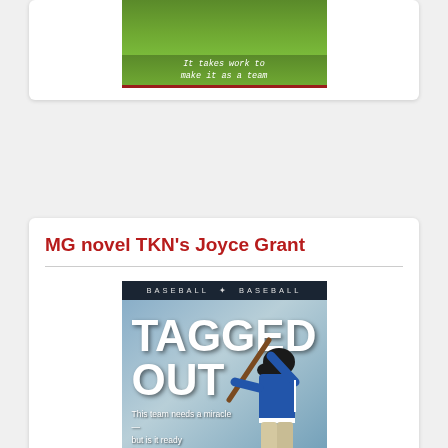[Figure (illustration): Top portion of a book cover showing green grass background with italic text 'It takes work to make it as a team' and a red author bar reading 'Joyce Grant']
MG novel TKN's Joyce Grant
[Figure (illustration): Book cover for 'Tagged Out' with dark header bar reading 'BASEBALL * BASEBALL', large white bold title 'TAGGED OUT', subtitle 'This team needs a miracle — but is it ready for one?', and a baseball batter in blue uniform swinging against a blue sky background]